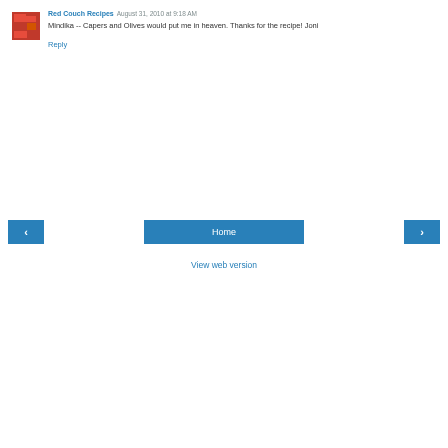Red Couch Recipes August 31, 2010 at 9:18 AM
Mindika -- Capers and Olives would put me in heaven. Thanks for the recipe! Joni
Reply
Home
View web version